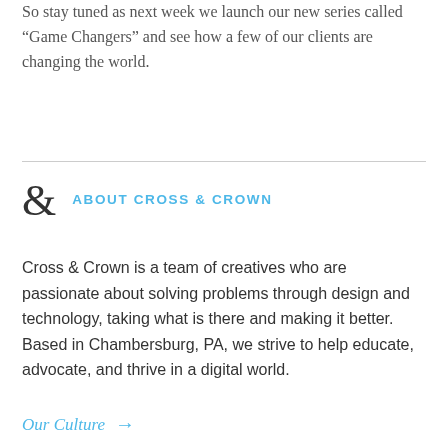So stay tuned as next week we launch our new series called “Game Changers” and see how a few of our clients are changing the world.
ABOUT CROSS & CROWN
Cross & Crown is a team of creatives who are passionate about solving problems through design and technology, taking what is there and making it better. Based in Chambersburg, PA, we strive to help educate, advocate, and thrive in a digital world.
Our Culture →